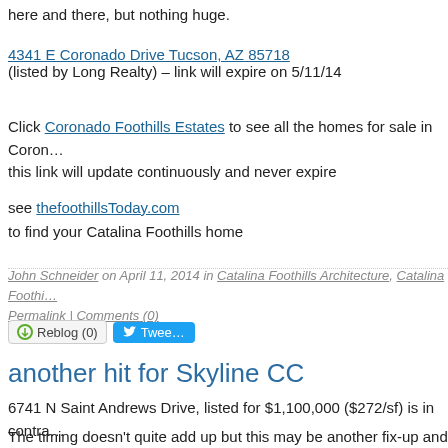here and there, but nothing huge.
4341 E Coronado Drive Tucson, AZ 85718
(listed by Long Realty) – link will expire on 5/11/14
Click Coronado Foothills Estates to see all the homes for sale in Coron… this link will update continuously and never expire
see thefoothillsToday.com
to find your Catalina Foothills home
John Schneider on April 11, 2014 in Catalina Foothills Architecture, Catalina Foothi…
Permalink | Comments (0)
Reblog (0)  Tweet
another hit for Skyline CC
6741 N Saint Andrews Drive, listed for $1,100,000 ($272/sf) is in contra…
The timing doesn't quite add up but this may be another fix-up and flip … for that sort thing in the foothills. The current owners bought in late 201… was more or less vintage1977 throughout, and embarked on a big reno… about 600sf. All of which could easily have taken a year or more. But it … January, 2 years later, so maybe they had no intention of flipping it but…